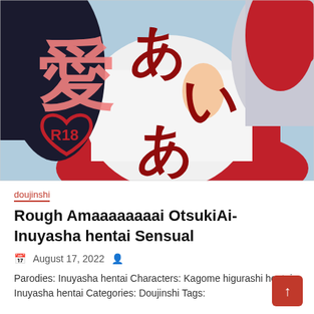[Figure (illustration): Manga/anime style cover art showing characters in white and red traditional Japanese clothing with large Japanese text characters and an R18 heart logo]
doujinshi
Rough Amaaaaaaaai OtsukiAi-Inuyasha hentai Sensual
August 17, 2022
Parodies: Inuyasha hentai Characters: Kagome higurashi hentai, Inuyasha hentai Categories: Doujinshi Tags: